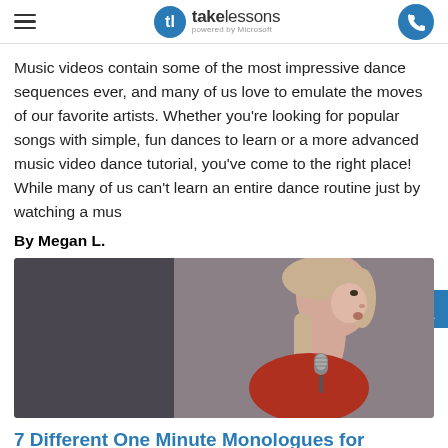takelessons powered by Microsoft
Music videos contain some of the most impressive dance sequences ever, and many of us love to emulate the moves of our favorite artists. Whether you're looking for popular songs with simple, fun dances to learn or a more advanced music video dance tutorial, you've come to the right place! While many of us can't learn an entire dance routine just by watching a mus
By Megan L.
[Figure (photo): Young girl singing into a microphone, side profile, light background]
7 Different One Minute Monologues for